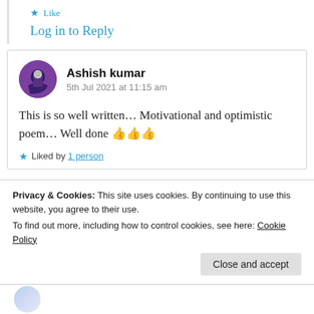★ Like
Log in to Reply
Ashish kumar
5th Jul 2021 at 11:15 am
This is so well written… Motivational and optimistic poem… Well done 👍👍👍
★ Liked by 1 person
Privacy & Cookies: This site uses cookies. By continuing to use this website, you agree to their use.
To find out more, including how to control cookies, see here: Cookie Policy
Close and accept